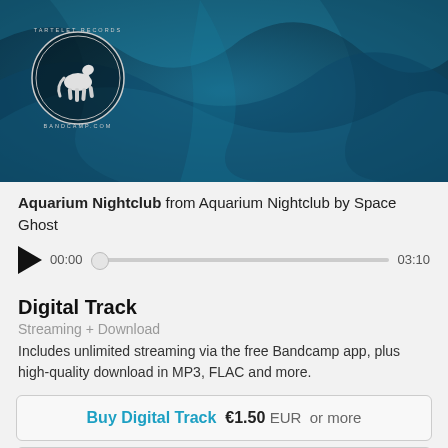[Figure (illustration): Dark teal/blue abstract wavy texture background with a circular record label logo (white horse silhouette) in the upper left corner.]
Aquarium Nightclub from Aquarium Nightclub by Space Ghost
[Figure (other): Audio player with play button, time display 00:00, scrubber bar, and end time 03:10]
Digital Track
Streaming + Download
Includes unlimited streaming via the free Bandcamp app, plus high-quality download in MP3, FLAC and more.
Buy Digital Track  €1.50 EUR  or more
Send as Gift
Buy the Full Digital Album